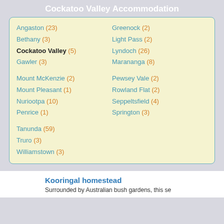Cockatoo Valley Accommodation
Angaston (23)
Bethany (3)
Cockatoo Valley (5)
Gawler (3)
Greenock (2)
Light Pass (2)
Lyndoch (26)
Marananga (8)
Mount McKenzie (2)
Mount Pleasant (1)
Nuriootpa (10)
Penrice (1)
Pewsey Vale (2)
Rowland Flat (2)
Seppeltsfield (4)
Springton (3)
Tanunda (59)
Truro (3)
Williamstown (3)
Kooringal homestead
Surrounded by Australian bush gardens, this se